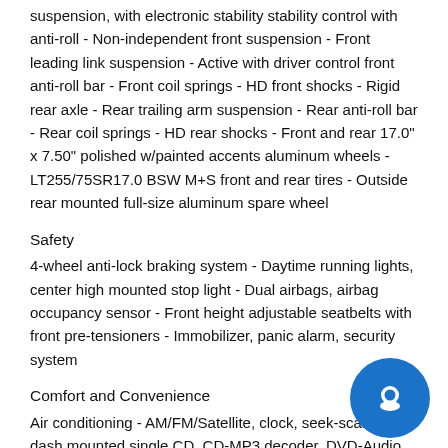suspension, with electronic stability stability control with anti-roll - Non-independent front suspension - Front leading link suspension - Active with driver control front anti-roll bar - Front coil springs - HD front shocks - Rigid rear axle - Rear trailing arm suspension - Rear anti-roll bar - Rear coil springs - HD rear shocks - Front and rear 17.0" x 7.50" polished w/painted accents aluminum wheels - LT255/75SR17.0 BSW M+S front and rear tires - Outside rear mounted full-size aluminum spare wheel
Safety
4-wheel anti-lock braking system - Daytime running lights, center high mounted stop light - Dual airbags, airbag occupancy sensor - Front height adjustable seatbelts with front pre-tensioners - Immobilizer, panic alarm, security system
Comfort and Convenience
Air conditioning - AM/FM/Satellite, clock, seek-scan, in-dash mounted single CD, CD-MP3 decoder, DVD-Audio, 28 G internal memory, external memory control, 8 brand sp premium amplifier, voice activation, streaming audio, fi antenna, radio steering wheel controls - Integrated navigation
[Figure (illustration): Blue circular chat/support bubble icon in bottom-right corner]